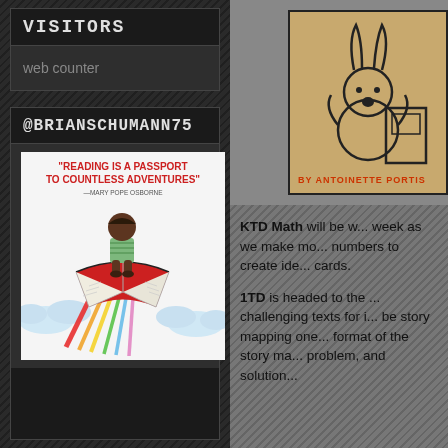Visitors
web counter
@BRIANSCHUMANN75
[Figure (illustration): Illustration of a child riding a large red open book like a flying carpet through a cloudy sky. Text reads: 'Reading is a passport to countless adventures' - Mary Pope Osborne]
[Figure (illustration): Book cover showing a cartoon bunny character, by Antoinette Portis]
KTD Math will be w... week as we make mo... numbers to create ide... cards.
1TD is headed to the ... challenging texts for i... be story mapping one... format of the story ma... problem, and solution...